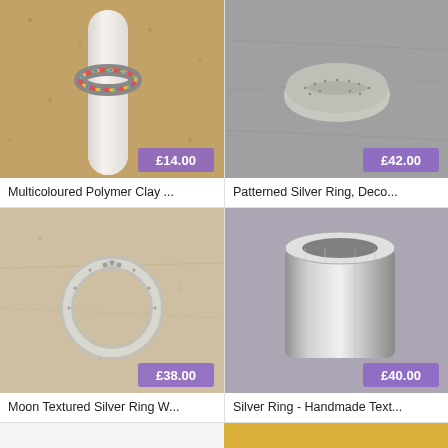[Figure (photo): Multicoloured polymer clay ring on a white cylindrical stand, cork background, price badge £14.00]
Multicoloured Polymer Clay ...
[Figure (photo): Patterned silver ring with dotted/star texture on grey stone surface, price badge £42.00]
Patterned Silver Ring, Deco...
[Figure (photo): Moon textured silver ring lying flat on beige stone surface, price badge £38.00]
Moon Textured Silver Ring W...
[Figure (photo): Wide silver band ring on grey-purple surface, price badge £40.00]
Silver Ring - Handmade Text...
[Figure (photo): Partial view of a ring on gold/yellow background, partially cut off at bottom of page]